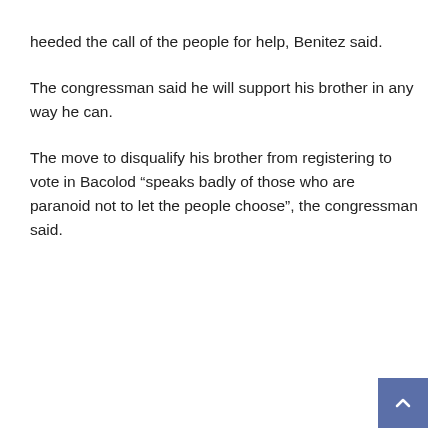heeded the call of the people for help, Benitez said.
The congressman said he will support his brother in any way he can.
The move to disqualify his brother from registering to vote in Bacolod “speaks badly of those who are paranoid not to let the people choose”, the congressman said.